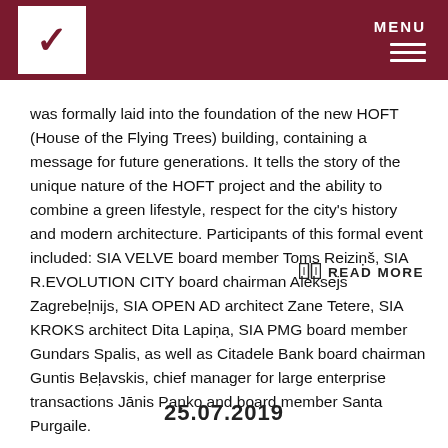MENU
was formally laid into the foundation of the new HOFT (House of the Flying Trees) building, containing a message for future generations. It tells the story of the unique nature of the HOFT project and the ability to combine a green lifestyle, respect for the city's history and modern architecture. Participants of this formal event included: SIA VELVE board member Toms Reiziņš, SIA R.EVOLUTION CITY board chairman Aleksejs Zagrebeļnijs, SIA OPEN AD architect Zane Tetere, SIA KROKS architect Dita Lapiņa, SIA PMG board member Gundars Spalis, as well as Citadele Bank board chairman Guntis Beļavskis, chief manager for large enterprise transactions Jānis Paņko and board member Santa Purgaile.
READ MORE
25.07.2019